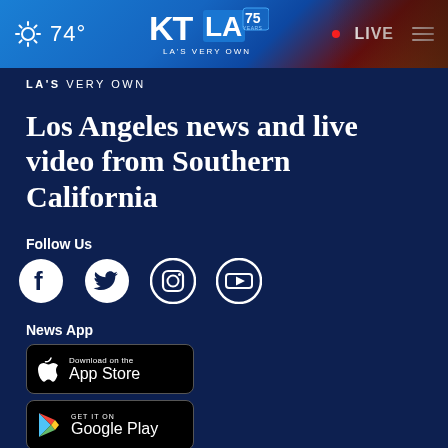[Figure (screenshot): KTLA 75 Years navigation bar with weather (sun icon, 74°), KTLA logo, LA'S VERY OWN text, LIVE button and hamburger menu with palm tree background]
LA'S VERY OWN
Los Angeles news and live video from Southern California
Follow Us
[Figure (illustration): Social media icons: Facebook, Twitter, Instagram, YouTube]
News App
[Figure (illustration): Download on the App Store button]
[Figure (illustration): GET IT ON Google Play button]